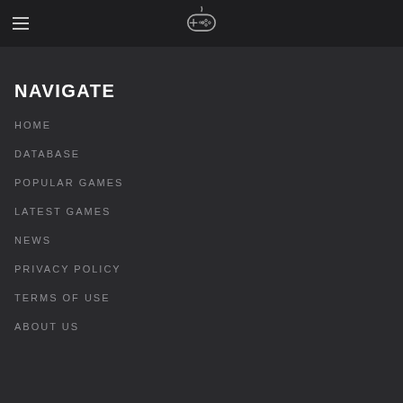Navigation header with hamburger menu and game controller logo
NAVIGATE
HOME
DATABASE
POPULAR GAMES
LATEST GAMES
NEWS
PRIVACY POLICY
TERMS OF USE
ABOUT US